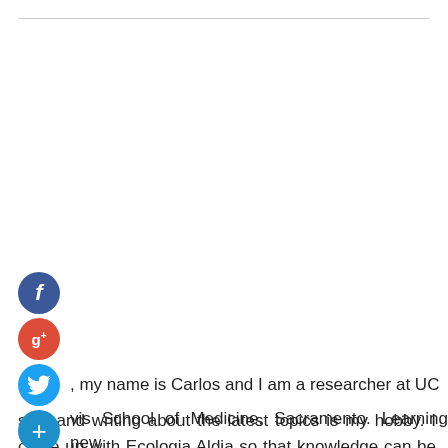[Figure (infographic): Social media icon buttons: Facebook (blue circle with f), Google+ (red circle with g+), Twitter (blue circle with bird icon), Add/follow (blue circle with + icon)]
, my name is Carlos and I am a researcher at UC vis School of Medicine, Sacramento. Learning new stuff and writing about the latest topics is my hobby. I came up with Ecologia Aldia so that knowledge can be shared without any limitations. Stay in touch for more